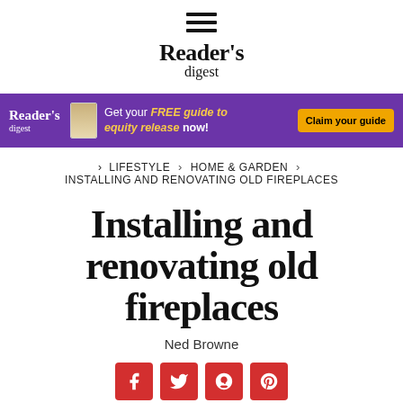Reader's digest
[Figure (infographic): Purple advertisement banner: Reader's Digest logo, book image, text 'Get your FREE guide to equity release now!' with a yellow 'Claim your guide' button]
LIFESTYLE > HOME & GARDEN > INSTALLING AND RENOVATING OLD FIREPLACES
Installing and renovating old fireplaces
Ned Browne
[Figure (infographic): Social media sharing icons: Facebook, Twitter, Google+, Pinterest — all red square buttons with white icons]